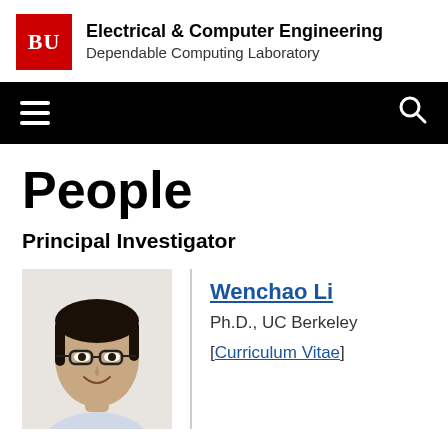BU | Electrical & Computer Engineering | Dependable Computing Laboratory
People
Principal Investigator
[Figure (photo): Headshot photo of Wenchao Li, a man with dark hair and glasses, smiling, against a light background]
Wenchao Li
Ph.D., UC Berkeley
[Curriculum Vitae]